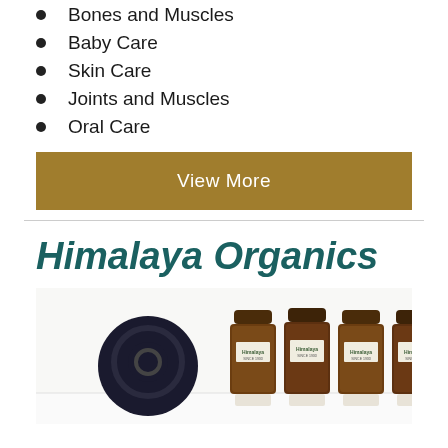Bones and Muscles
Baby Care
Skin Care
Joints and Muscles
Oral Care
View More
Himalaya Organics
[Figure (photo): Row of Himalaya brand supplement/herbal product bottles with brown glass containers and a circular logo on the left side]